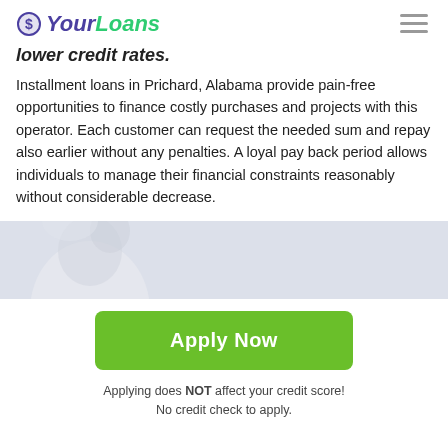YourLoans
lower credit rates.
Installment loans in Prichard, Alabama provide pain-free opportunities to finance costly purchases and projects with this operator. Each customer can request the needed sum and repay also earlier without any penalties. A loyal pay back period allows individuals to manage their financial constraints reasonably without considerable decrease.
[Figure (photo): Partial photo of a person's face, light tones, cropped at top of page area]
Apply Now
Applying does NOT affect your credit score!
No credit check to apply.